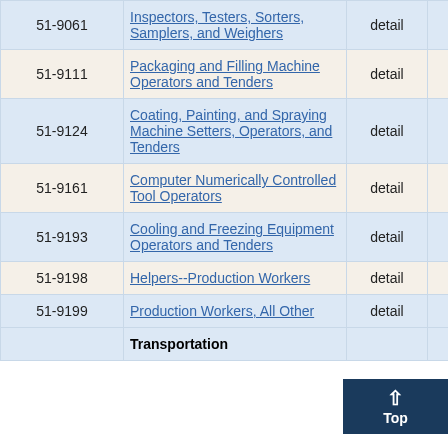| Code | Occupation Title | Level | Employment |  |
| --- | --- | --- | --- | --- |
| 51-9061 | Inspectors, Testers, Sorters, Samplers, and Weighers | detail | 450 | 3 |
| 51-9111 | Packaging and Filling Machine Operators and Tenders | detail | 300 | 13 |
| 51-9124 | Coating, Painting, and Spraying Machine Setters, Operators, and Tenders | detail | 140 | 8 |
| 51-9161 | Computer Numerically Controlled Tool Operators | detail | 150 | 19 |
| 51-9193 | Cooling and Freezing Equipment Operators and Tenders | detail | 130 | 3 |
| 51-9198 | Helpers--Production Workers | detail | 990 | 2 |
| 51-9199 | Production Workers, All Other | detail | 21 |  |
|  | Transportation |  |  |  |